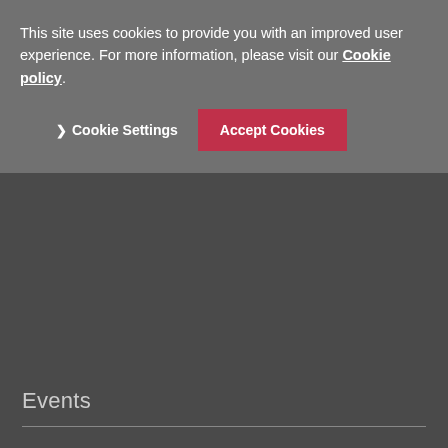This site uses cookies to provide you with an improved user experience. For more information, please visit our Cookie policy.
Cookie Settings | Accept Cookies
Events
Contact
[Figure (logo): PwC logo — building/columns icon above italic lowercase 'pwc' text in white]